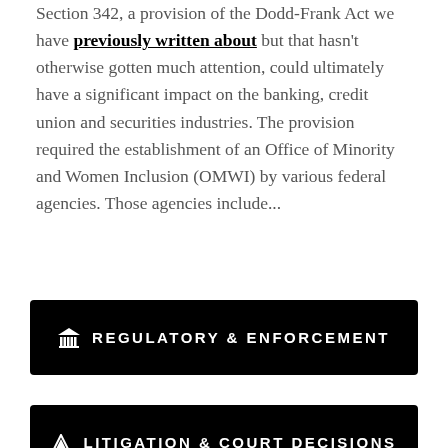Section 342, a provision of the Dodd-Frank Act we have previously written about but that hasn't otherwise gotten much attention, could ultimately have a significant impact on the banking, credit union and securities industries. The provision required the establishment of an Office of Minority and Women Inclusion (OMWI) by various federal agencies. Those agencies include...
🏛 REGULATORY & ENFORCEMENT
🏠 LITIGATION & COURT DECISIONS